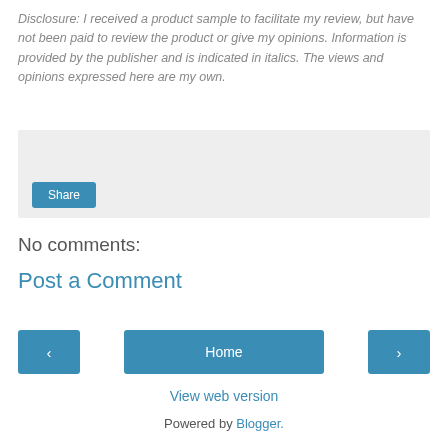Disclosure: I received a product sample to facilitate my review, but have not been paid to review the product or give my opinions. Information is provided by the publisher and is indicated in italics. The views and opinions expressed here are my own.
[Figure (other): Light grey share widget box with a blue Share button in the lower left]
No comments:
Post a Comment
[Figure (other): Navigation row with left arrow button, Home button, and right arrow button]
View web version
Powered by Blogger.